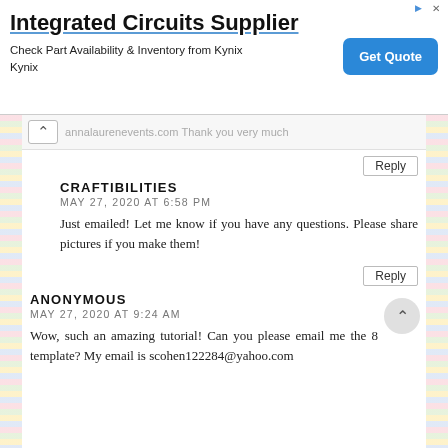[Figure (screenshot): Advertisement banner for Integrated Circuits Supplier by Kynix with a blue Get Quote button]
annalaurenevents.com Thank you very much
Reply
CRAFTIBILITIES
MAY 27, 2020 AT 6:58 PM
Just emailed! Let me know if you have any questions. Please share pictures if you make them!
Reply
ANONYMOUS
MAY 27, 2020 AT 9:24 AM
Wow, such an amazing tutorial! Can you please email me the 8 template? My email is scohen122284@yahoo.com